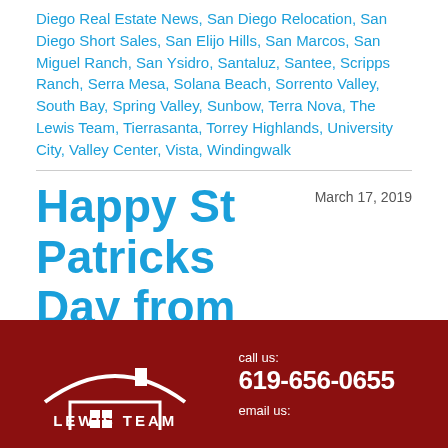Diego Real Estate News, San Diego Relocation, San Diego Short Sales, San Elijo Hills, San Marcos, San Miguel Ranch, San Ysidro, Santaluz, Santee, Scripps Ranch, Serra Mesa, Solana Beach, Sorrento Valley, South Bay, Spring Valley, Sunbow, Terra Nova, The Lewis Team, Tierrasanta, Torrey Highlands, University City, Valley Center, Vista, Windingwalk
Happy St Patricks Day from The Lewis Team
March 17, 2019
[Figure (logo): Lewis Team real estate company banner with dark red background, house roof logo icon on the left, 'LEWIS TEAM' text below icon, and contact info on the right: 'call us: 619-656-0655' and 'email us:']